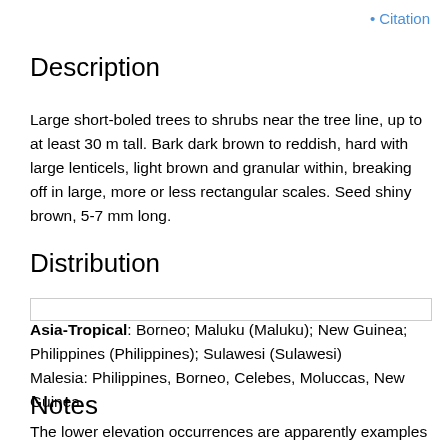• Citation
Description
Large short-boled trees to shrubs near the tree line, up to at least 30 m tall. Bark dark brown to reddish, hard with large lenticels, light brown and granular within, breaking off in large, more or less rectangular scales. Seed shiny brown, 5-7 mm long.
Distribution
|  |
Asia-Tropical: Borneo; Maluku (Maluku); New Guinea; Philippines (Philippines); Sulawesi (Sulawesi)
Malesia: Philippines, Borneo, Celebes, Moluccas, New Guinea. .
Notes
The lower elevation occurrences are apparently examples of the phenomenon 'temporary settlement' from established higher